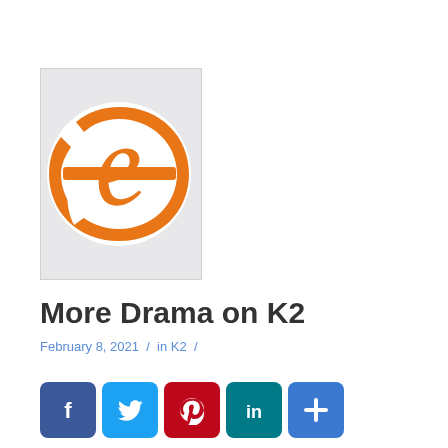[Figure (logo): Orange stylized letter 'e' on a white circle, on a light gray background — Joomla/extension logo]
More Drama on K2
February 8, 2021  /  in K2  /
[Figure (infographic): Social share buttons: Facebook (blue), Twitter (light blue), Pinterest (red), LinkedIn (teal), More (blue plus sign)]